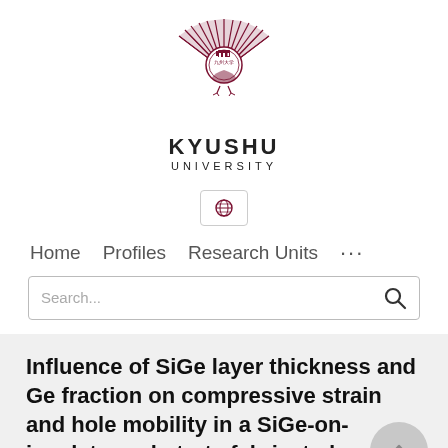[Figure (logo): Kyushu University logo - a stylized phoenix/sunburst emblem in dark red/maroon with a central seal, above the text KYUSHU UNIVERSITY]
KYUSHU UNIVERSITY
[Figure (other): Globe/language selector icon in a box]
Home   Profiles   Research Units   ...
Search...
Influence of SiGe layer thickness and Ge fraction on compressive strain and hole mobility in a SiGe-on-insulator substrate fabricated